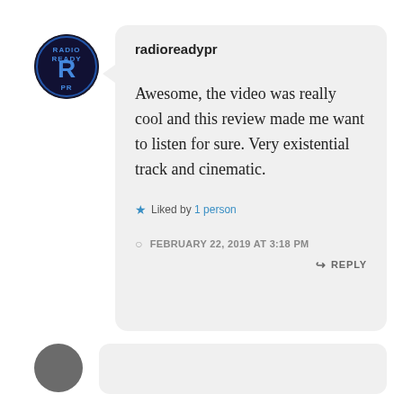radioreadypr
Awesome, the video was really cool and this review made me want to listen for sure. Very existential track and cinematic.
★ Liked by 1 person
FEBRUARY 22, 2019 AT 3:18 PM
↪ REPLY